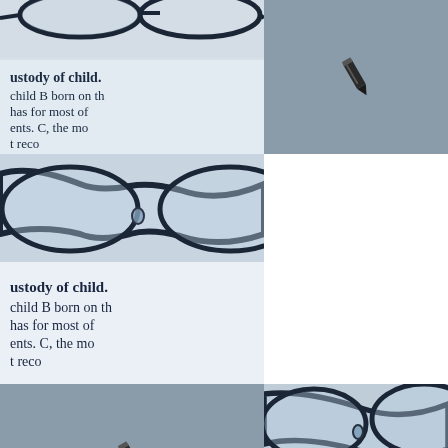[Figure (photo): Close-up of legal document with text about custody of child and reading glasses on top, tinted blue-gray. Visible text: 'ustody of child.', 'child B born on th', 'has for most of', 'ents. C, the mo', 't reco...']
[Figure (photo): Gray background with small pencil icon in center]
[Figure (photo): Larger close-up of legal document with glasses and text about custody of child. Visible text: 'ustody of child.', 'child B born on th', 'has for most of', 'ents. C, the mo', 't reco...' with close-up of glasses bridge at top]
[Figure (photo): White/empty space]
[Figure (photo): Gray background with small pencil icon in center]
[Figure (photo): Close-up of legal document with glasses and text about custody of child. Visible text: 'ustody of child.', 'child B born on th', 'has for most of']